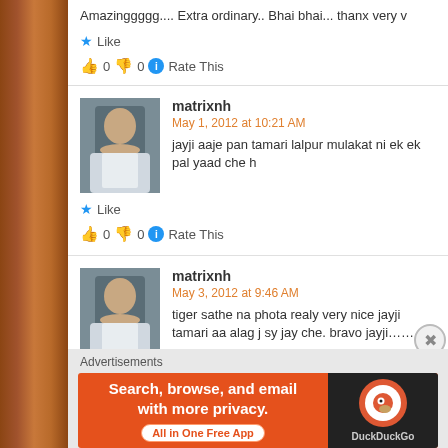Amazinggggg.... Extra ordinary.. Bhai bhai... thanx very v
★ Like
👍 0 👎 0 ℹ Rate This
matrixnh
May 1, 2012 at 10:21 AM
jayji aaje pan tamari lalpur mulakat ni ek ek pal yaad che h
★ Like
👍 0 👎 0 ℹ Rate This
matrixnh
May 3, 2012 at 9:46 AM
tiger sathe na phota realy very nice jayji tamari aa alag j sy
jay che. bravo jayji………..
Advertisements
[Figure (screenshot): DuckDuckGo advertisement banner: Search, browse, and email with more privacy. All in One Free App. Shows DuckDuckGo logo on dark background.]